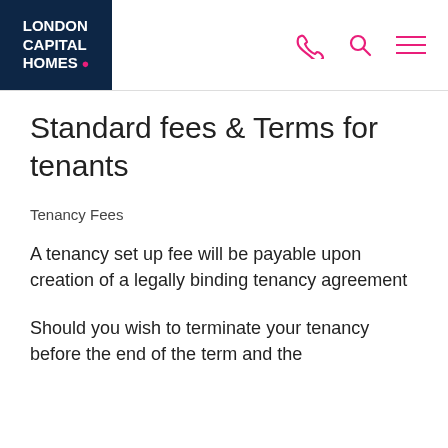LONDON CAPITAL HOMES
Standard fees & Terms for tenants
Tenancy Fees
A tenancy set up fee will be payable upon creation of a legally binding tenancy agreement
Should you wish to terminate your tenancy before the end of the term and the landlord agrees, the tenant must pay to